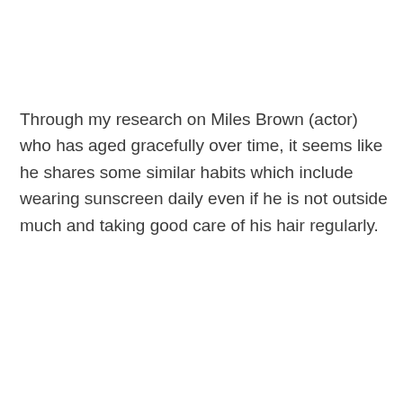Through my research on Miles Brown (actor) who has aged gracefully over time, it seems like he shares some similar habits which include wearing sunscreen daily even if he is not outside much and taking good care of his hair regularly.